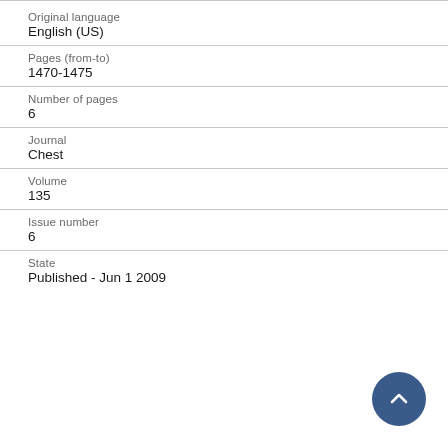Original language
English (US)
Pages (from-to)
1470-1475
Number of pages
6
Journal
Chest
Volume
135
Issue number
6
State
Published - Jun 1 2009